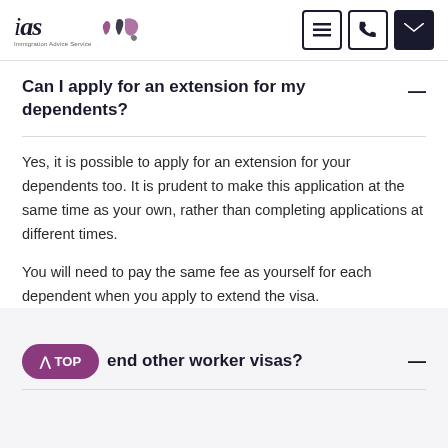IAS Immigration Advice Service — navigation header with menu, phone, and email icons
Can I apply for an extension for my dependents?
Yes, it is possible to apply for an extension for your dependents too. It is prudent to make this application at the same time as your own, rather than completing applications at different times.
You will need to pay the same fee as yourself for each dependent when you apply to extend the visa.
end other worker visas?